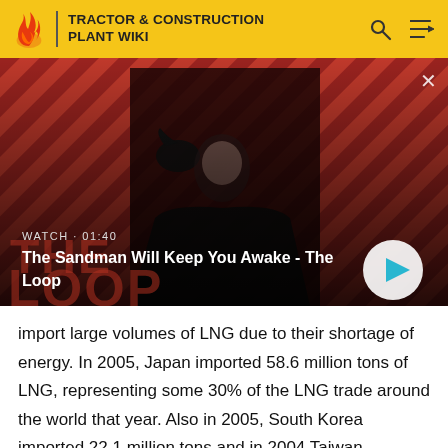TRACTOR & CONSTRUCTION PLANT WIKI
[Figure (screenshot): Video thumbnail for 'The Sandman Will Keep You Awake - The Loop' with WATCH · 01:40 label, showing a dark-caped figure against a red diagonal striped background, with a play button on the right]
import large volumes of LNG due to their shortage of energy. In 2005, Japan imported 58.6 million tons of LNG, representing some 30% of the LNG trade around the world that year. Also in 2005, South Korea imported 22.1 million tons and in 2004 Taiwan imported 6.8 million tons.